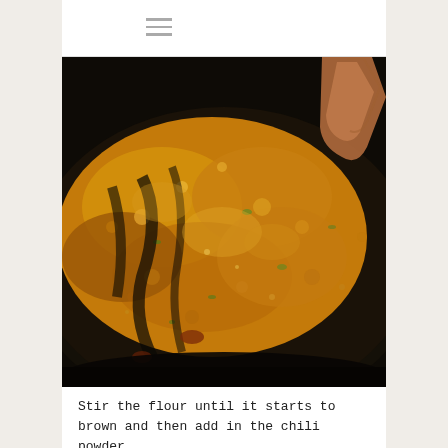≡
[Figure (photo): Close-up photo of a bubbling, frothy orange-yellow mixture being cooked in a dark cast iron skillet. A wooden spoon is visible in the upper right. The mixture appears to be flour and spices being stirred, showing a roux with chili powder added.]
Stir the flour until it starts to brown and then add in the chili powder.